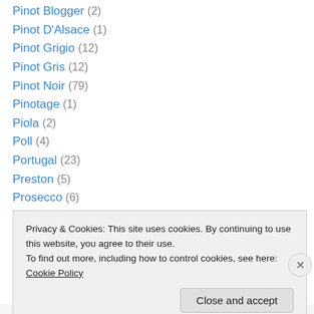Pinot Blogger (2)
Pinot D'Alsace (1)
Pinot Grigio (12)
Pinot Gris (12)
Pinot Noir (79)
Pinotage (1)
Piola (2)
Poll (4)
Portugal (23)
Preston (5)
Prosecco (6)
Quivira (22)
Rappahannock Cellars (7)
Privacy & Cookies: This site uses cookies. By continuing to use this website, you agree to their use. To find out more, including how to control cookies, see here: Cookie Policy
Close and accept